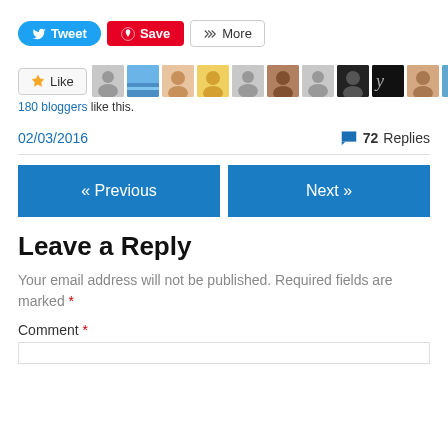[Figure (screenshot): Social sharing buttons: Tweet (blue), Save (red), More (outlined)]
[Figure (screenshot): Like button with star icon followed by row of user avatar thumbnails]
180 bloggers like this.
02/03/2016	72 Replies
[Figure (screenshot): Navigation buttons: « Previous (blue) and Next » (blue)]
Leave a Reply
Your email address will not be published. Required fields are marked *
Comment *